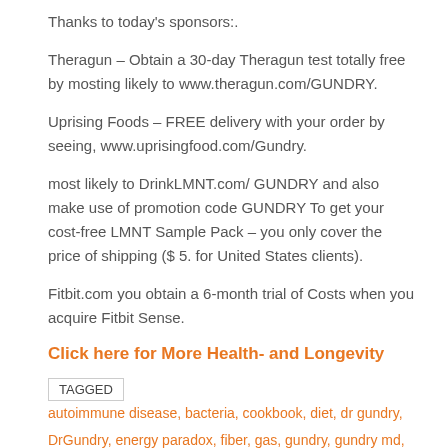Thanks to today's sponsors:.
Theragun – Obtain a 30-day Theragun test totally free by mosting likely to www.theragun.com/GUNDRY.
Uprising Foods – FREE delivery with your order by seeing, www.uprisingfood.com/Gundry.
most likely to DrinkLMNT.com/ GUNDRY and also make use of promotion code GUNDRY To get your cost-free LMNT Sample Pack – you only cover the price of shipping ($ 5. for United States clients).
Fitbit.com you obtain a 6-month trial of Costs when you acquire Fitbit Sense.
Click here for More Health- and Longevity
TAGGED  autoimmune disease, bacteria, cookbook, diet, dr gundry, DrGundry, energy paradox, fiber, gas, gundry, gundry md, gut bacteria,